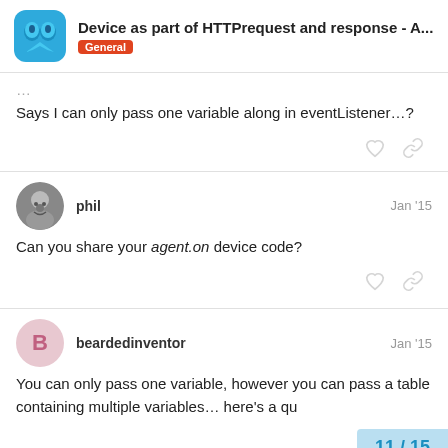Device as part of HTTPrequest and response - A... | General
...
Says I can only pass one variable along in eventListener...?
phil  Jan '15
Can you share your agent.on device code?
beardedinventor  Jan '15
You can only pass one variable, however you can pass a table containing multiple variables… here's a qu
11 / 15